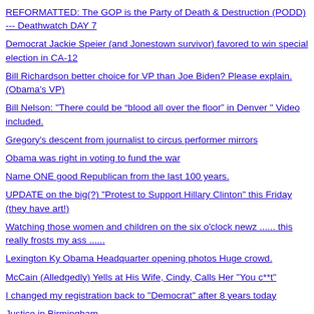REFORMATTED: The GOP is the Party of Death & Destruction (PODD) --- Deathwatch DAY 7
Democrat Jackie Speier (and Jonestown survivor) favored to win special election in CA-12
Bill Richardson better choice for VP than Joe Biden? Please explain. (Obama's VP)
Bill Nelson: "There could be “blood all over the floor” in Denver " Video included.
Gregory's descent from journalist to circus performer mirrors
Obama was right in voting to fund the war
Name ONE good Republican from the last 100 years.
UPDATE on the big(?) "Protest to Support Hillary Clinton" this Friday (they have art!)
Watching those women and children on the six o'clock newz ...... this really frosts my ass .......
Lexington Ky Obama Headquarter opening photos Huge crowd.
McCain (Alledgedly) Yells at His Wife, Cindy, Calls Her "You c**t"
I changed my registration back to "Democrat" after 8 years today
Justice in Birmingham